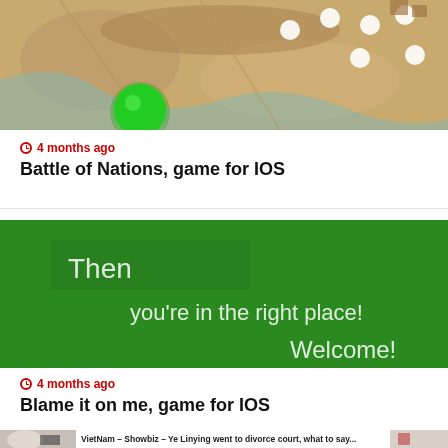[Figure (screenshot): Top portion of a game map screenshot for Battle of Nations iOS game, showing a sandy terrain map with white circles and a green button]
4 months ago
Battle of Nations, game for IOS
[Figure (screenshot): Green background promotional image with white text: Then / you're in the right place! / Welcome!]
4 months ago
Blame it on me, game for IOS
VietNam – Showbiz – Ye Linying went to divorce court, what to say...